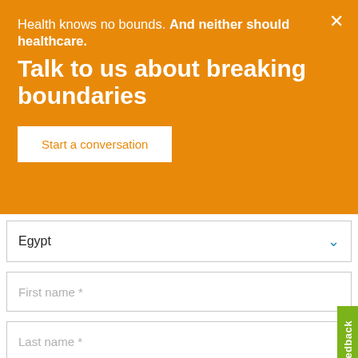Health knows no bounds. And neither should healthcare.
Talk to us about breaking boundaries
Start a conversation
Egypt
First name *
Last name *
Email address *
Feedback